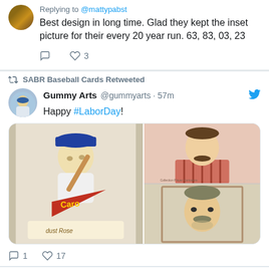Replying to @mattypabst
Best design in long time. Glad they kept the inset picture for their every 20 year run. 63, 83, 03, 23
3 likes
SABR Baseball Cards Retweeted
Gummy Arts @gummyarts · 57m
Happy #LaborDay!
[Figure (photo): Two illustrated baseball card style drawings. Left: a cartoon baseball player in a hat swinging a bat, with a Cardinals-style pennant. Right (top and bottom): two portrait-style caricature drawings of men with mustaches.]
1 comment, 17 likes